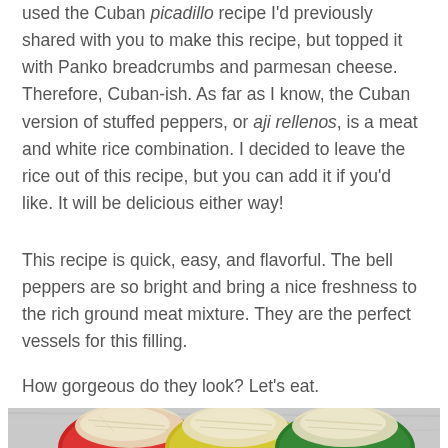used the Cuban picadillo recipe I'd previously shared with you to make this recipe, but topped it with Panko breadcrumbs and parmesan cheese. Therefore, Cuban-ish. As far as I know, the Cuban version of stuffed peppers, or aji rellenos, is a meat and white rice combination. I decided to leave the rice out of this recipe, but you can add it if you'd like. It will be delicious either way!
This recipe is quick, easy, and flavorful. The bell peppers are so bright and bring a nice freshness to the rich ground meat mixture. They are the perfect vessels for this filling.
How gorgeous do they look? Let's eat.
[Figure (photo): Photo of stuffed bell peppers (red, yellow, green) topped with melted cheese on a light surface, partially visible at bottom of page.]